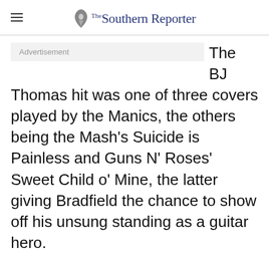Southern Reporter
The BJ Thomas hit was one of three covers played by the Manics, the others being the Mash's Suicide is Painless and Guns N' Roses' Sweet Child o' Mine, the latter giving Bradfield the chance to show off his unsung standing as a guitar hero.